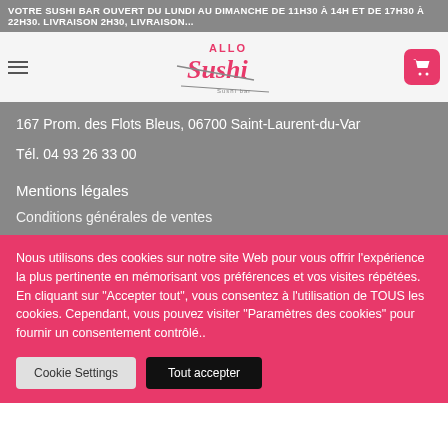VOTRE SUSHI BAR OUVERT DU LUNDI AU DIMANCHE DE 11H30 À 14H ET DE 17H30 À 22H30. LIVRAISON...
[Figure (logo): Allo Sushi logo with text and chopstick graphic]
167 Prom. des Flots Bleus, 06700 Saint-Laurent-du-Var
Tél. 04 93 26 33 00
Mentions légales
Conditions générales de ventes
Nous utilisons des cookies sur notre site Web pour vous offrir l'expérience la plus pertinente en mémorisant vos préférences et vos visites répétées. En cliquant sur "Accepter tout", vous consentez à l'utilisation de TOUS les cookies. Cependant, vous pouvez visiter "Paramètres des cookies" pour fournir un consentement contrôlé..